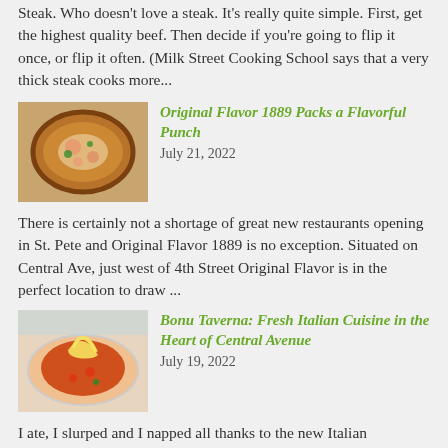Steak. Who doesn't love a steak. It's really quite simple. First, get the highest quality beef. Then decide if you're going to flip it once, or flip it often. (Milk Street Cooking School says that a very thick steak cooks more...
[Figure (photo): Photo of a pizza with cheese and toppings]
Original Flavor 1889 Packs a Flavorful Punch
July 21, 2022
There is certainly not a shortage of great new restaurants opening in St. Pete and Original Flavor 1889 is no exception. Situated on Central Ave, just west of 4th Street Original Flavor is in the perfect location to draw ...
[Figure (photo): Photo of pasta or pizza dish being lifted]
Bonu Taverna: Fresh Italian Cuisine in the Heart of Central Avenue
July 19, 2022
I ate, I slurped and I napped all thanks to the new Italian restaurant on Central Avenue, Bonu Taverna. From pasta swirls, fresh housemade pizza, an exquisite wine and cocktail list, and a remarkable experience every time,...
[Figure (photo): Photo of a burger]
Best Burgers in St. Petersburg FL 2022
July 15, 2022